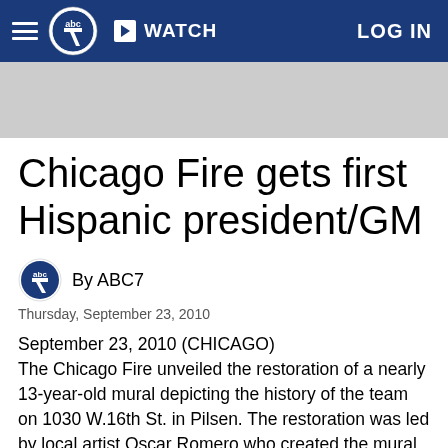ABC7 | WATCH | LOG IN
[Figure (other): Gray advertisement/banner placeholder bar]
Chicago Fire gets first Hispanic president/GM
By ABC7
Thursday, September 23, 2010
September 23, 2010 (CHICAGO)
The Chicago Fire unveiled the restoration of a nearly 13-year-old mural depicting the history of the team on 1030 W.16th St. in Pilsen. The restoration was led by local artist Oscar Romero who created the mural originally and told the team it needed to be restored.